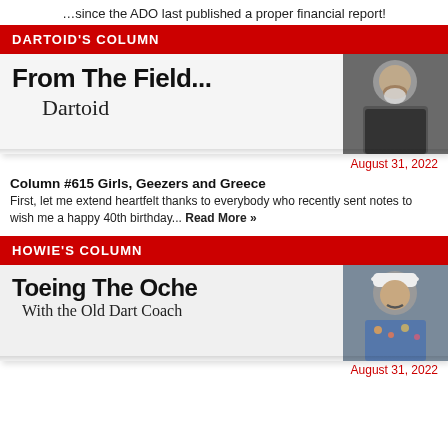…since the ADO last published a proper financial report!
DARTOID'S COLUMN
[Figure (illustration): From The Field... Dartoid banner with script signature and photo of a bearded man]
August 31, 2022
Column #615 Girls, Geezers and Greece
First, let me extend heartfelt thanks to everybody who recently sent notes to wish me a happy 40th birthday... Read More »
HOWIE'S COLUMN
[Figure (illustration): Toeing The Oche With the Old Dart Coach banner with script subtitle and photo of a man in a white hat]
August 31, 2022